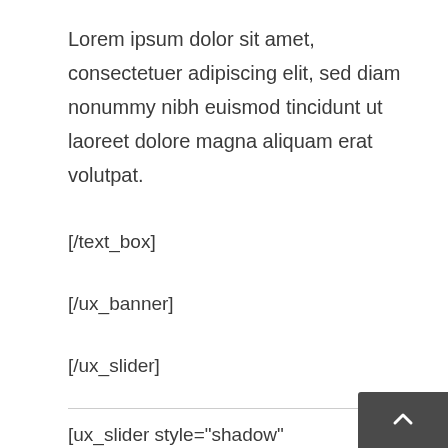Lorem ipsum dolor sit amet, consectetuer adipiscing elit, sed diam nonummy nibh euismod tincidunt ut laoreet dolore magna aliquam erat volutpat.
[/text_box]
[/ux_banner]
[/ux_slider]
[ux_slider style="shadow" slide_width="500px" bg_color="rgb(238, 238, 238)" freescroll="true"]